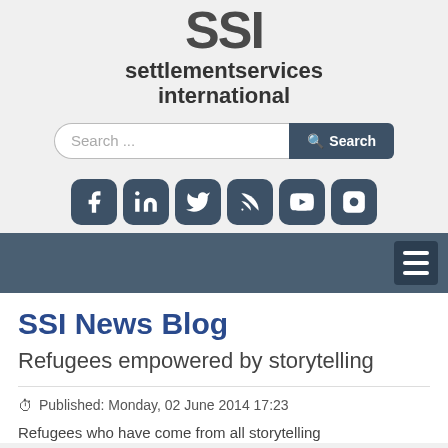[Figure (logo): SSI Settlement Services International logo with large SSI letters and snowflake icon]
[Figure (screenshot): Search bar with text input 'Search ...' and dark Search button]
[Figure (infographic): Row of six social media icons: Facebook, LinkedIn, Twitter, RSS, YouTube, Instagram in dark rounded square buttons]
[Figure (screenshot): Dark navigation bar with hamburger menu icon on right side]
SSI News Blog
Refugees empowered by storytelling
Published: Monday, 02 June 2014 17:23
Refugees who have come from all storytelling